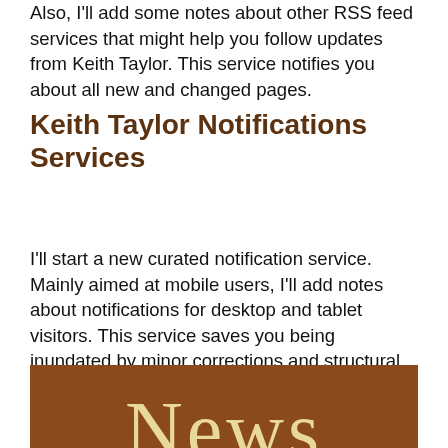Also, I'll add some notes about other RSS feed services that might help you follow updates from Keith Taylor. This service notifies you about all new and changed pages.
Keith Taylor Notifications Services
I'll start a new curated notification service. Mainly aimed at mobile users, I'll add notes about notifications for desktop and tablet visitors. This service saves you being inundated by minor corrections and structural changes. Because I manually notify you when I make substantial revisions.
[Figure (other): Brown banner with the word 'News' in large serif yellow/cream text]